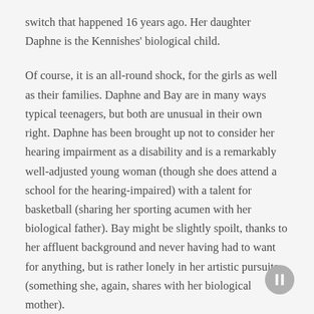switch that happened 16 years ago. Her daughter Daphne is the Kennishes' biological child.
Of course, it is an all-round shock, for the girls as well as their families. Daphne and Bay are in many ways typical teenagers, but both are unusual in their own right. Daphne has been brought up not to consider her hearing impairment as a disability and is a remarkably well-adjusted young woman (though she does attend a school for the hearing-impaired) with a talent for basketball (sharing her sporting acumen with her biological father). Bay might be slightly spoilt, thanks to her affluent background and never having had to want for anything, but is rather lonely in her artistic pursuits (something she, again, shares with her biological mother).
Overall, the Kennish parents come across as pushy and